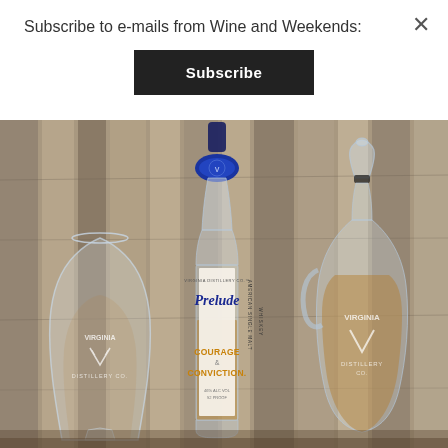Subscribe to e-mails from Wine and Weekends:
Subscribe
[Figure (photo): A bottle of Virginia Distillery Co. Courage & Conviction Prelude American Single Malt Whiskey centered on a wooden surface, flanked by a Virginia Distillery Co. branded tasting glass on the left and a branded crystal decanter on the right. The bottle has a blue wax seal on top and a white label with blue cursive script.]